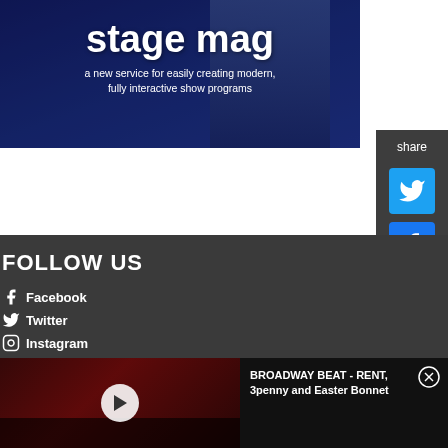[Figure (illustration): Stage mag advertisement banner with dark blue background showing a person holding papers. Text reads 'stage mag' in large white bold font with subtitle 'a new service for easily creating modern, fully interactive show programs']
[Figure (infographic): Share panel sidebar with Twitter and Facebook icons on dark grey background, labeled 'share']
FOLLOW US
Facebook
Twitter
Instagram
[Figure (screenshot): Video thumbnail of a theatre interior with red curtain and play button overlay]
BROADWAY BEAT - RENT, 3penny and Easter Bonnet